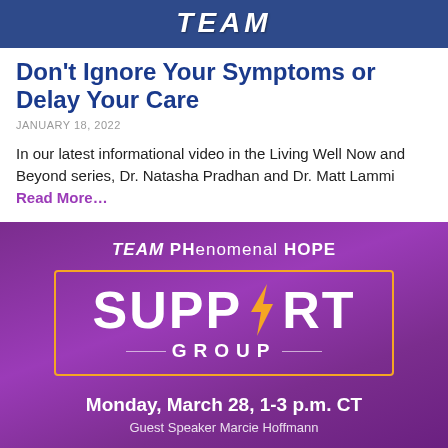TEAM
Don't Ignore Your Symptoms or Delay Your Care
JANUARY 18, 2022
In our latest informational video in the Living Well Now and Beyond series, Dr. Natasha Pradhan and Dr. Matt Lammi Read More…
[Figure (infographic): TEAM PHenomenal HOPE Support Group event banner with purple background, gold-bordered box containing 'SUPPORT GROUP' text with lightning bolt, advertising Monday March 28, 1-3 p.m. CT with Guest Speaker Marcie Hoffmann]